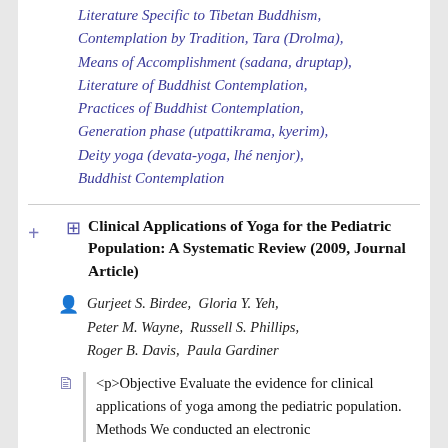Literature Specific to Tibetan Buddhism, Contemplation by Tradition, Tara (Drolma), Means of Accomplishment (sadana, druptap), Literature of Buddhist Contemplation, Practices of Buddhist Contemplation, Generation phase (utpattikrama, kyerim), Deity yoga (devata-yoga, lhé nenjor), Buddhist Contemplation
Clinical Applications of Yoga for the Pediatric Population: A Systematic Review (2009, Journal Article)
Gurjeet S. Birdee,  Gloria Y. Yeh,  Peter M. Wayne,  Russell S. Phillips,  Roger B. Davis,  Paula Gardiner
<p>Objective Evaluate the evidence for clinical applications of yoga among the pediatric population. Methods We conducted an electronic